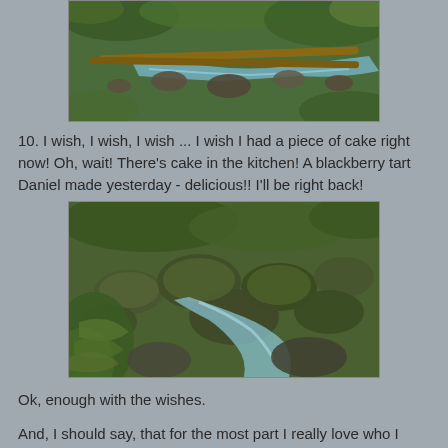[Figure (photo): A forest stream with fallen logs crossing over mossy rocks and green foliage.]
10. I wish, I wish, I wish ... I wish I had a piece of cake right now! Oh, wait! There's cake in the kitchen! A blackberry tart Daniel made yesterday - delicious!! I'll be right back!
[Figure (photo): A rocky forest stream with moss-covered boulders and lush green vegetation.]
Ok, enough with the wishes.
And, I should say, that for the most part I really love who I